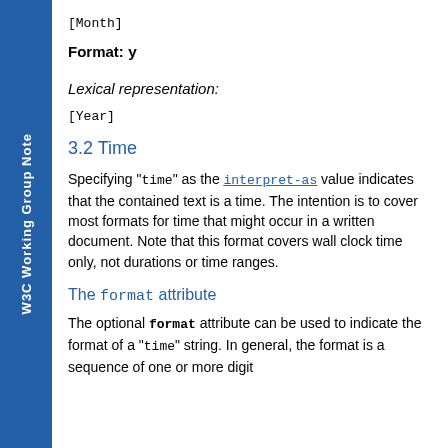W3C Working Group Note
[Month]
Format: y
Lexical representation:
[Year]
3.2 Time
Specifying "time" as the interpret-as value indicates that the contained text is a time. The intention is to cover most formats for time that might occur in a written document. Note that this format covers wall clock time only, not durations or time ranges.
The format attribute
The optional format attribute can be used to indicate the format of a "time" string. In general, the format is a sequence of one or more digit